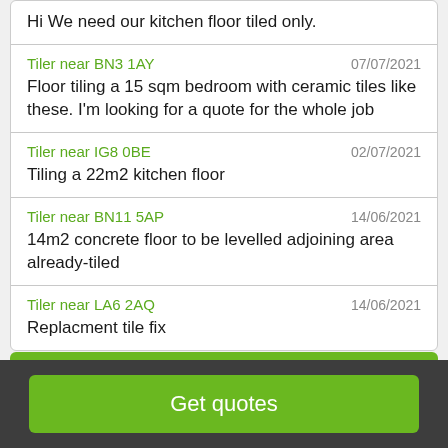Hi We need our kitchen floor tiled only.
Tiler near BN3 1AY | 07/07/2021 | Floor tiling a 15 sqm bedroom with ceramic tiles like these. I'm looking for a quote for the whole job
Tiler near IG8 0BE | 02/07/2021 | Tiling a 22m2 kitchen floor
Tiler near BN11 5AP | 14/06/2021 | 14m2 concrete floor to be levelled adjoining area already-tiled
Tiler near LA6 2AQ | 14/06/2021 | Replacment tile fix
Services for Tiler
Get quotes